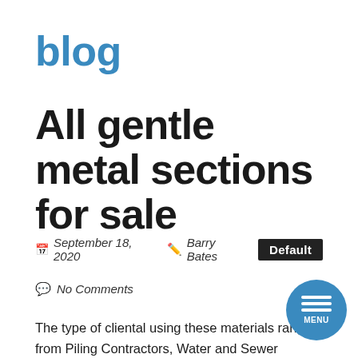blog
All gentle metal sections for sale
September 18, 2020  Barry Bates  Default
No Comments
The type of cliental using these materials range from Piling Contractors, Water and Sewer Contractors, Marinas, Signal Pole Companies and Fabricators. Our product range consists of all gentle metal sections